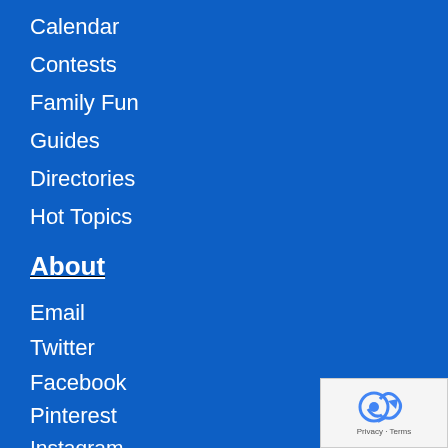Calendar
Contests
Family Fun
Guides
Directories
Hot Topics
About
Email
Twitter
Facebook
Pinterest
Instagram
About Us
Advertise
[Figure (logo): reCAPTCHA badge with Privacy and Terms text]